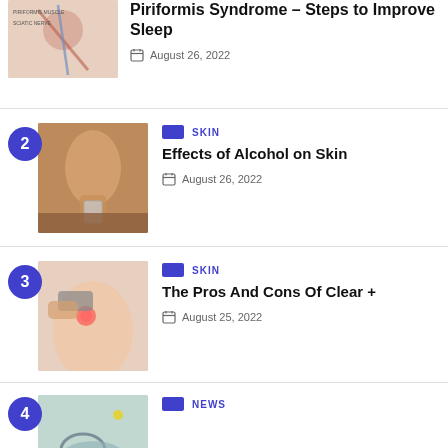Piriformis Syndrome – Steps to Improve Sleep
August 26, 2022
[Figure (photo): Medical diagram of piriformis muscle and sciatic nerve]
SKIN
Effects of Alcohol on Skin
August 26, 2022
[Figure (photo): Person holding a small shot glass of alcohol, declining it]
SKIN
The Pros And Cons Of Clear +
August 25, 2022
[Figure (photo): Close-up of a person receiving laser skin treatment on face]
NEWS
[Figure (photo): Partial medical image visible at bottom of page]